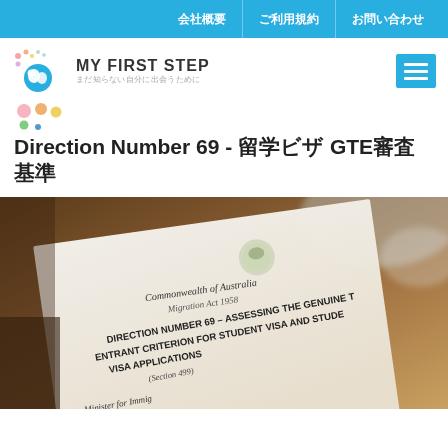会社概要　ご利用規約　お問い合わせ
[Figure (logo): My First Step logo with blue circle icon and Japanese subtitle まだ知らない自分に出会うために]
[Figure (other): Hamburger menu icon (three horizontal white lines on blue background)]
Direction Number 69 - 留学ビザ GTE審査基準について
[Figure (photo): Photo of an official Australian government document: Commonwealth of Australia, Migration Act 1958, Direction Number 69 – Assessing the Genuine Temporary Entrant Criterion for Student Visa and Student Guardian Visa Applications (Section 499), signed by Minister for Immigration and Citizenship]